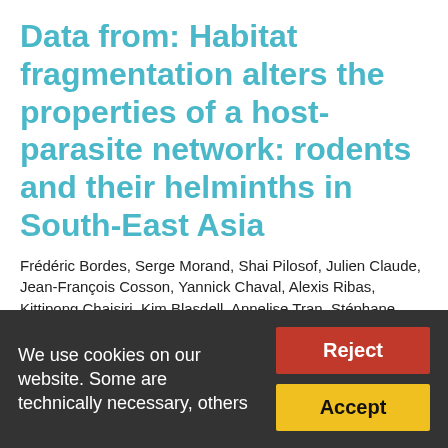Data from: Habitat fragmentation alters the properties of a host-parasite network: rodents and their helminths in South-East Asia
Frédéric Bordes, Serge Morand, Shai Pilosof, Julien Claude, Jean-François Cosson, Yannick Chaval, Alexis Ribas, Kittipong Chaisiri, Kim Blasdell, Annelise Tran, Stéphane Dupuy & Boris R. Krasnov
Dataset published via Dryad
1. While the effects of deforestation and habitat fragmentation on parasite prevalence or richness are well investigated, host–parasite networks are still understudied despite their importance in understanding the
We use cookies on our website. Some are technically necessary, others